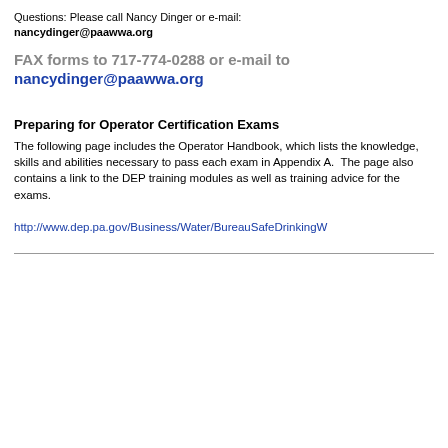Questions: Please call Nancy Dinger or e-mail: nancydinger@paawwa.org
FAX forms to 717-774-0288 or e-mail to nancydinger@paawwa.org
Preparing for Operator Certification Exams
The following page includes the Operator Handbook, which lists the knowledge, skills and abilities necessary to pass each exam in Appendix A.  The page also contains a link to the DEP training modules as well as training advice for the exams.
http://www.dep.pa.gov/Business/Water/BureauSafeDrinkingW